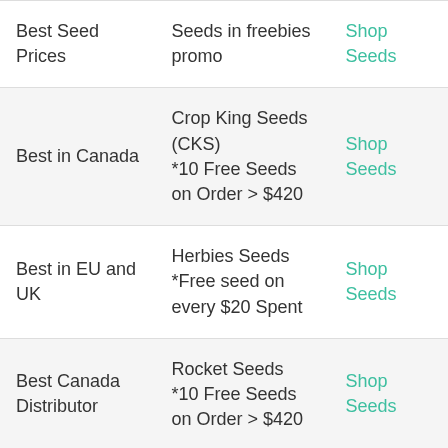| Category | Seed Bank / Promo | Link |
| --- | --- | --- |
| Best Seed Prices | Seeds in freebies promo | Shop Seeds |
| Best in Canada | Crop King Seeds (CKS)
*10 Free Seeds on Order > $420 | Shop Seeds |
| Best in EU and UK | Herbies Seeds
*Free seed on every $20 Spent | Shop Seeds |
| Best Canada Distributor | Rocket Seeds
*10 Free Seeds on Order > $420 | Shop Seeds |
| 7th | Sensi Seeds
-25% Off on Selected Seeds | Shop Seeds |